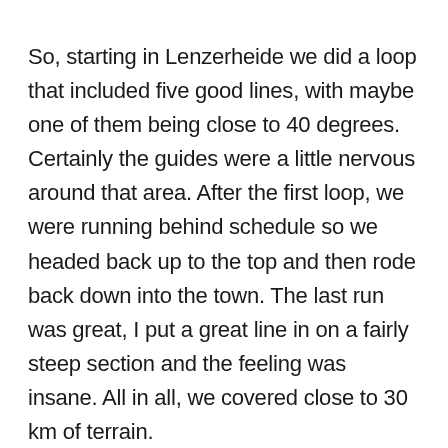So, starting in Lenzerheide we did a loop that included five good lines, with maybe one of them being close to 40 degrees. Certainly the guides were a little nervous around that area. After the first loop, we were running behind schedule so we headed back up to the top and then rode back down into the town. The last run was great, I put a great line in on a fairly steep section and the feeling was insane. All in all, we covered close to 30 km of terrain.